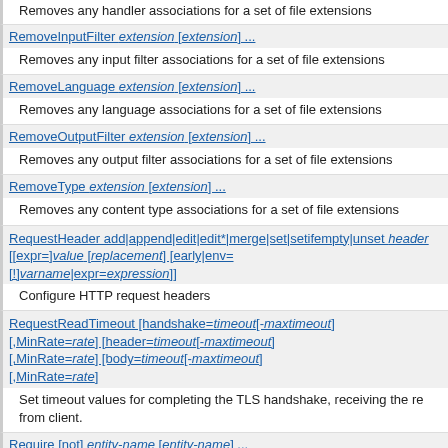Removes any handler associations for a set of file extensions
RemoveInputFilter extension [extension] ...
Removes any input filter associations for a set of file extensions
RemoveLanguage extension [extension] ...
Removes any language associations for a set of file extensions
RemoveOutputFilter extension [extension] ...
Removes any output filter associations for a set of file extensions
RemoveType extension [extension] ...
Removes any content type associations for a set of file extensions
RequestHeader add|append|edit|edit*|merge|set|setifempty|unset header [[expr=]value [replacement] [early|env=[!]varname|expr=expression]]
Configure HTTP request headers
RequestReadTimeout [handshake=timeout[-maxtimeout][,MinRate=rate] [header=timeout[-maxtimeout][,MinRate=rate] [body=timeout[-maxtimeout][,MinRate=rate]
Set timeout values for completing the TLS handshake, receiving the re... from client.
Require [not] entity-name [entity-name] ...
Tests whether an authenticated user is authorized by an authorization
<RequireAll> ... </RequireAll>